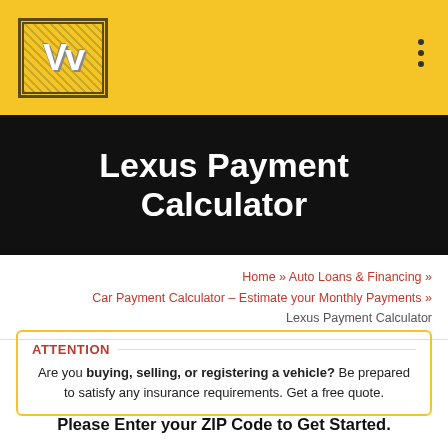[Figure (logo): VV logo in yellow diamond-pattern box]
Lexus Payment Calculator
Home » Auto Loans & Financing » Car Payment Calculator – Estimate your Monthly Payments » Lexus Payment Calculator
ATTENTION
Are you buying, selling, or registering a vehicle? Be prepared to satisfy any insurance requirements. Get a free quote.
Please Enter your ZIP Code to Get Started.